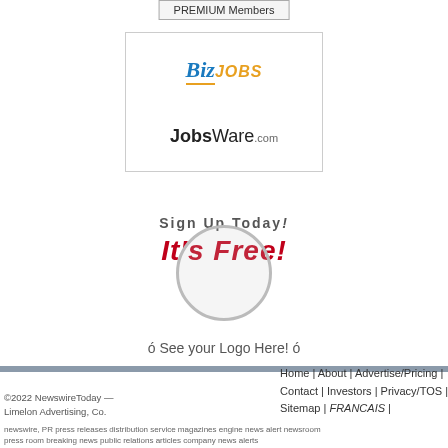PREMIUM Members
[Figure (logo): BizJOBS logo and JobsWare.com logo inside a bordered box]
Sign Up Today!
It's Free!
ó See your Logo Here! ó
©2022 NewswireToday — Limelon Advertising, Co.  Home | About | Advertise/Pricing | Contact | Investors | Privacy/TOS | Sitemap | FRANCAIS | newswire, PR press releases distribution service magazines engine news alert newsroom press room breaking news public relations articles company news alerts